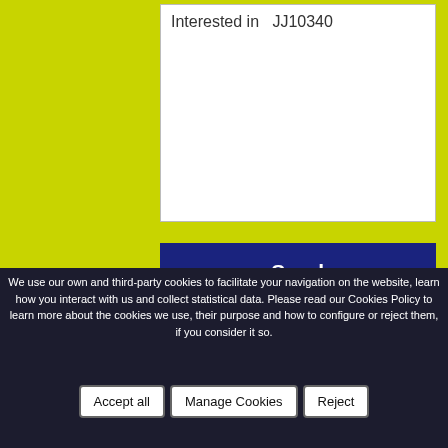Interested in  JJ10340
Send
When you press the button “SEND” you confirm you’ve read, understood and accepted the conditions of our Privacy Policy shown in this LINK
We use our own and third-party cookies to facilitate your navigation on the website, learn how you interact with us and collect statistical data. Please read our Cookies Policy to learn more about the cookies we use, their purpose and how to configure or reject them, if you consider it so.
Accept all
Manage Cookies
Reject